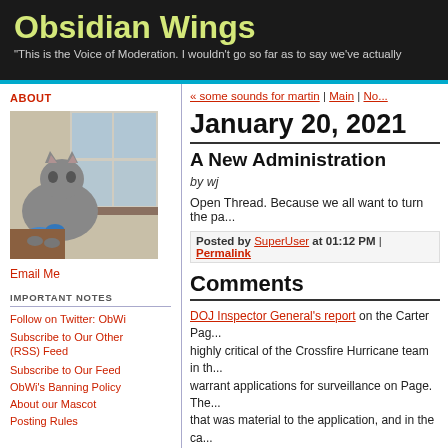Obsidian Wings
"This is the Voice of Moderation. I wouldn't go so far as to say we've actually
ABOUT
[Figure (photo): A cat sitting at a windowsill looking outside, holding a blue toy]
Email Me
IMPORTANT NOTES
Follow on Twitter: ObWi
Subscribe to Our Other (RSS) Feed
Subscribe to Our Feed
ObWi's Banning Policy
About our Mascot
Posting Rules
« some sounds for martin | Main | No...
January 20, 2021
A New Administration
by wj
Open Thread. Because we all want to turn the pa...
Posted by SuperUser at 01:12 PM | Permalink
Comments
DOJ Inspector General's report on the Carter Page... highly critical of the Crossfire Hurricane team in th... warrant applications for surveillance on Page. The... that was material to the application, and in the ca...